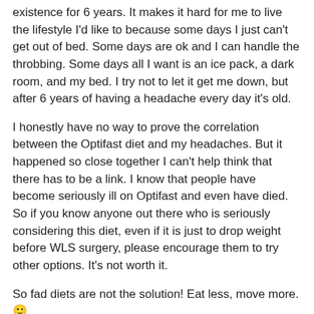existence for 6 years. It makes it hard for me to live the lifestyle I'd like to because some days I just can't get out of bed. Some days are ok and I can handle the throbbing. Some days all I want is an ice pack, a dark room, and my bed. I try not to let it get me down, but after 6 years of having a headache every day it's old.
I honestly have no way to prove the correlation between the Optifast diet and my headaches. But it happened so close together I can't help think that there has to be a link. I know that people have become seriously ill on Optifast and even have died. So if you know anyone out there who is seriously considering this diet, even if it is just to drop weight before WLS surgery, please encourage them to try other options. It's not worth it.
So fad diets are not the solution! Eat less, move more. 🙂
↳ REPLY